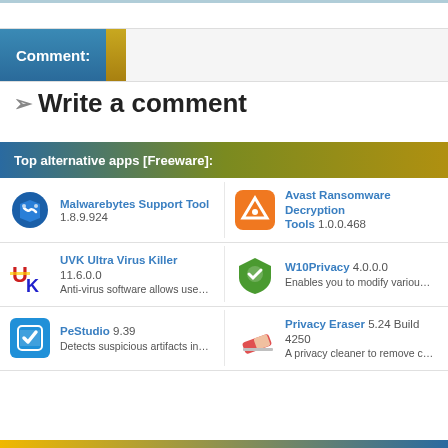Comment:
Write a comment
Top alternative apps [Freeware]:
Malwarebytes Support Tool 1.8.9.924
Avast Ransomware Decryption Tools 1.0.0.468
UVK Ultra Virus Killer 11.6.0.0 Anti-virus software allows use...
W10Privacy 4.0.0.0 Enables you to modify variou...
PeStudio 9.39 Detects suspicious artifacts in...
Privacy Eraser 5.24 Build 4250 A privacy cleaner to remove c...